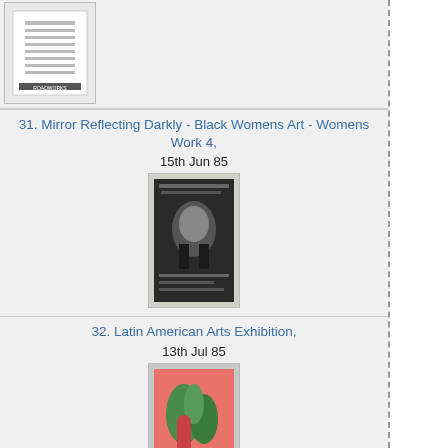[Figure (photo): Partial thumbnail of item 30 - Roadworks exhibition catalogue cover, black and white]
31. Mirror Reflecting Darkly - Black Womens Art - Womens Work 4, 15th Jun 85
[Figure (photo): Thumbnail of item 31 - Mirror Reflecting Darkly exhibition catalogue cover, black and white with face]
32. Latin American Arts Exhibition, 13th Jul 85
[Figure (photo): Thumbnail of item 32 - Latin American Arts Exhibition catalogue cover, colourful with red and green figures]
33. Two Photographers - Newton Brown & Anna Arnone + The Other Ireland, 10th Aug 85
[Figure (photo): Thumbnail of item 33 - Another Ireland exhibition catalogue cover, orange and beige with portrait]